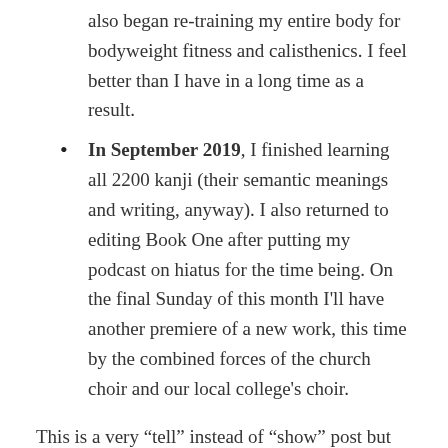also began re-training my entire body for bodyweight fitness and calisthenics. I feel better than I have in a long time as a result.
In September 2019, I finished learning all 2200 kanji (their semantic meanings and writing, anyway). I also returned to editing Book One after putting my podcast on hiatus for the time being. On the final Sunday of this month I'll have another premiere of a new work, this time by the combined forces of the church choir and our local college's choir.
This is a very “tell” instead of “show” post but after having written close to 150,000 words in other forums I’m not really pushing myself to make this blog post a literary masterpiece. Let the record show that my life is